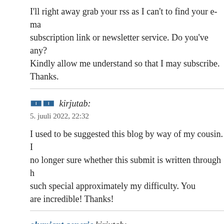I'll right away grab your rss as I can't to find your e-mail subscription link or newsletter service. Do you've any? Kindly allow me understand so that I may subscribe. Thanks.
🀰🀰 kirjutab:
5. juuli 2022, 22:32
I used to be suggested this blog by way of my cousin. I no longer sure whether this submit is written through him as such special approximately my difficulty. You are incredible! Thanks!
olumiant generic kirjutab:
5. juuli 2022, 22:40